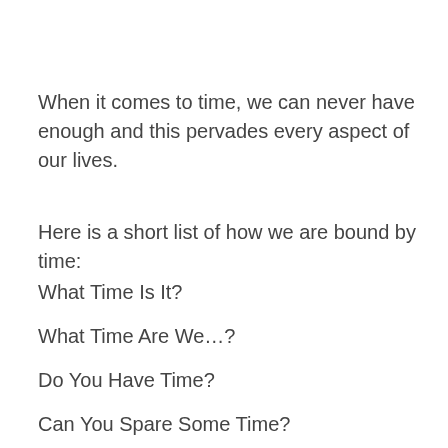When it comes to time, we can never have enough and this pervades every aspect of our lives.
Here is a short list of how we are bound by time:
What Time Is It?
What Time Are We…?
Do You Have Time?
Can You Spare Some Time?